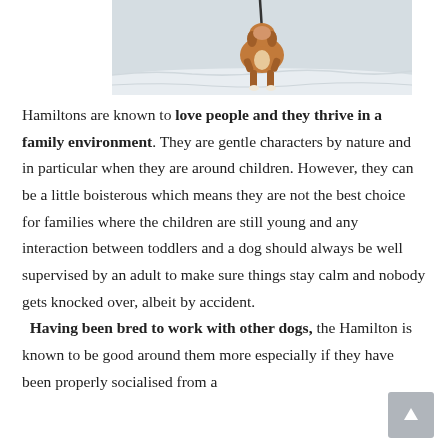[Figure (photo): A dog (Hamilton hound) running through snow on a leash, viewed from the front, with snowy ground and trees in background.]
Hamiltons are known to love people and they thrive in a family environment. They are gentle characters by nature and in particular when they are around children. However, they can be a little boisterous which means they are not the best choice for families where the children are still young and any interaction between toddlers and a dog should always be well supervised by an adult to make sure things stay calm and nobody gets knocked over, albeit by accident. Having been bred to work with other dogs, the Hamilton is known to be good around them more especially if they have been properly socialised from a